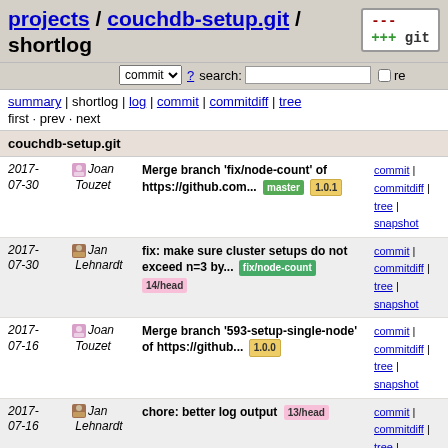projects / couchdb-setup.git / shortlog
commit ▾ ? search: [ ] re
summary | shortlog | log | commit | commitdiff | tree
first · prev · next
couchdb-setup.git
| Date | Author | Message | Links |
| --- | --- | --- | --- |
| 2017-07-30 | Joan Touzet | Merge branch 'fix/node-count' of https://github.com... [master] [1.0.1] | commit | commitdiff | tree | snapshot |
| 2017-07-30 | Jan Lehnardt | fix: make sure cluster setups do not exceed n=3 by... [fix/node-count] [14/head] | commit | commitdiff | tree | snapshot |
| 2017-07-16 | Joan Touzet | Merge branch '593-setup-single-node' of https://github... [1.0.0] | commit | commitdiff | tree | snapshot |
| 2017-07-16 | Jan Lehnardt | chore: better log output [13/head] | commit | commitdiff | tree | snapshot |
| 2017-07-16 | Jan Lehnardt | chore: whitespace | commit | commitdiff | tree | snapshot |
| 2017-07-16 | Jan Lehnardt | fix typo/compilation error | commit | commitdiff | tree | snapshot |
| 2017-07-11 | Joan Touzet | address comments from reviewer | commit | commitdiff |